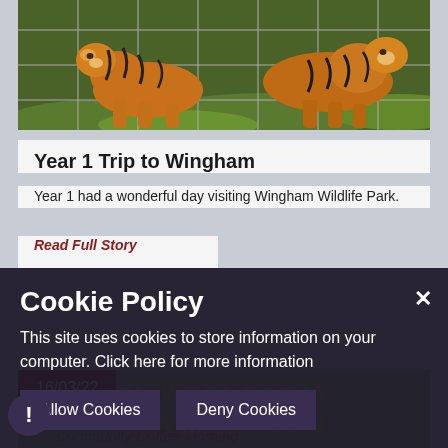[Figure (photo): Tiger behind a wire fence at Wingham Wildlife Park, standing on green grass]
Year 1 Trip to Wingham
Year 1 had a wonderful day visiting Wingham Wildlife Park.
Read Full Story
16/03/22
[Figure (infographic): Green banner advertising an event EVERY WEDNESDAY 10AM-12NOON]
Cookie Policy
This site uses cookies to store information on your computer. Click here for more information
Allow Cookies
Deny Cookies
Community Coffee Morning